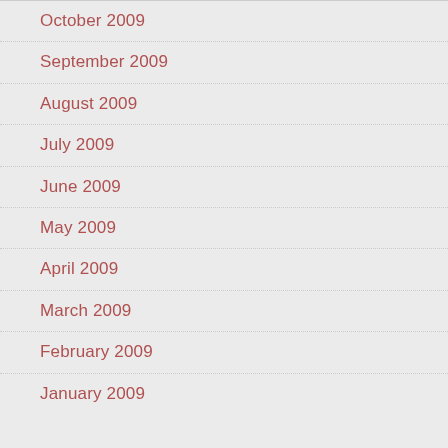October 2009
September 2009
August 2009
July 2009
June 2009
May 2009
April 2009
March 2009
February 2009
January 2009